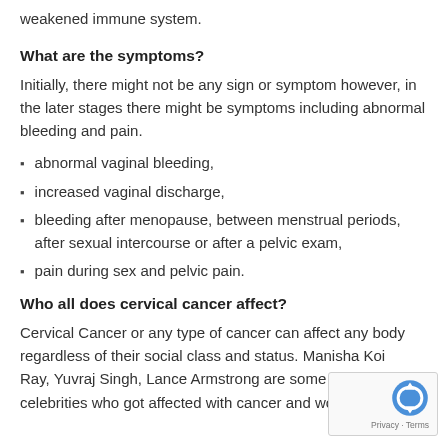weakened immune system.
What are the symptoms?
Initially, there might not be any sign or symptom however, in the later stages there might be symptoms including abnormal bleeding and pain.
abnormal vaginal bleeding,
increased vaginal discharge,
bleeding after menopause, between menstrual periods, after sexual intercourse or after a pelvic exam,
pain during sex and pelvic pain.
Who all does cervical cancer affect?
Cervical Cancer or any type of cancer can affect any body regardless of their social class and status. Manisha Koi Ray, Yuvraj Singh, Lance Armstrong are some of the fa celebrities who got affected with cancer and won the battle